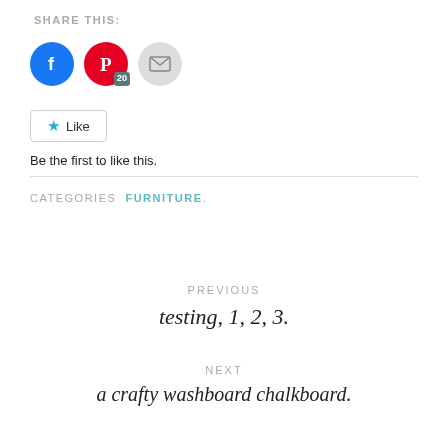SHARE THIS:
[Figure (other): Social sharing icons: Facebook (blue circle), Pinterest (red circle with badge '20'), Email (gray circle with envelope)]
[Figure (other): Like button with star icon]
Be the first to like this.
CATEGORIES  FURNITURE.
PREVIOUS
testing, 1, 2, 3.
NEXT
a crafty washboard chalkboard.